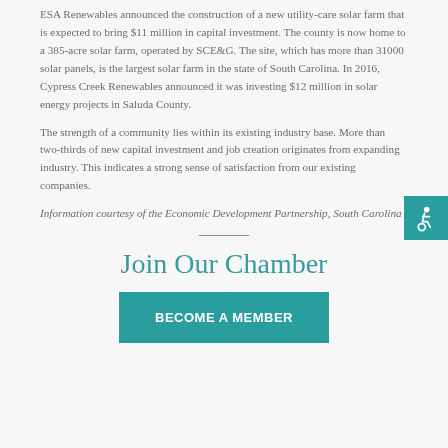ESA Renewables announced the construction of a new utility-care solar farm that is expected to bring $11 million in capital investment.  The county is now home to a 385-acre solar farm, operated by SCE&G.  The site, which has more than 31000 solar panels, is the largest solar farm in the state of South Carolina.  In 2016, Cypress Creek Renewables announced it was investing $12 million in solar energy projects in Saluda County.
The strength of a community lies within its existing industry base.  More than two-thirds of new capital investment and job creation originates from expanding industry.  This indicates a strong sense of satisfaction from our existing companies.
Information courtesy of the Economic Development Partnership, South Carolina
Join Our Chamber
BECOME A MEMBER